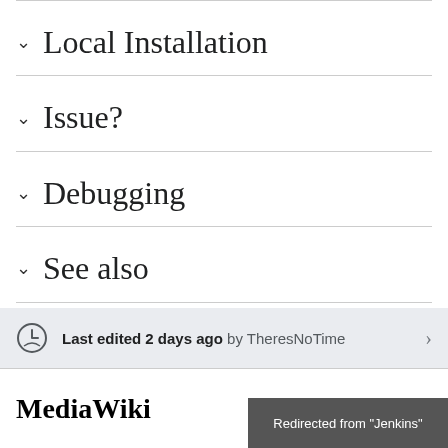Local Installation
Issue?
Debugging
See also
Last edited 2 days ago by TheresNoTime
MediaWiki
Redirected from "Jenkins"